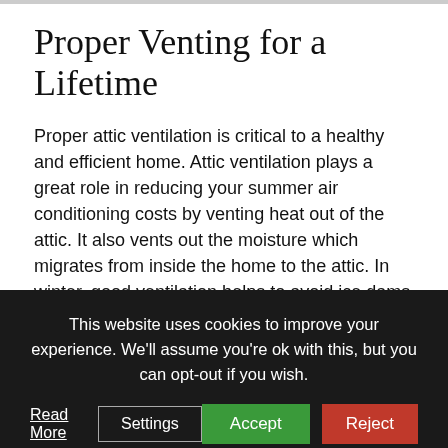Proper Venting for a Lifetime
Proper attic ventilation is critical to a healthy and efficient home. Attic ventilation plays a great role in reducing your summer air conditioning costs by venting heat out of the attic. It also vents out the moisture which migrates from inside the home to the attic. In winter, good ventilation helps to avoid ice dams on your roof.
Breathe In…Breathe Out
Effective ventilation requires intake and exhaust air.
This website uses cookies to improve your experience. We'll assume you're ok with this, but you can opt-out if you wish.